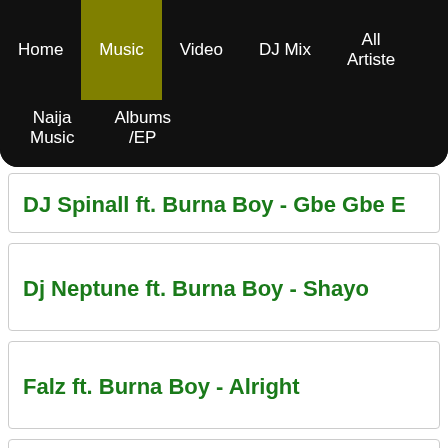Home | Music | Video | DJ Mix | All Artiste | Naija Music | Albums/EP
DJ Spinall ft. Burna Boy - Gbe Gbe E
Dj Neptune ft. Burna Boy - Shayo
Falz ft. Burna Boy - Alright
Asake ft. Burna Boy - Sungba (Remix)